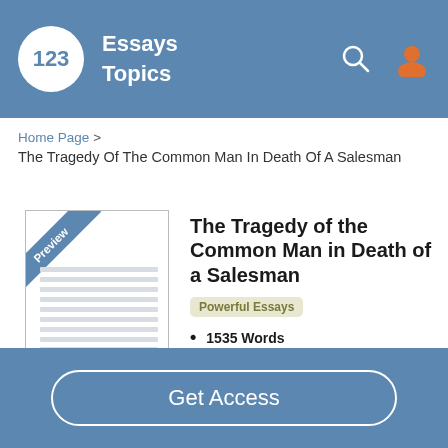123 Essays Topics
Home Page > The Tragedy Of The Common Man In Death Of A Salesman
[Figure (illustration): Preview thumbnail of a document page with a blue diagonal 'Preview' banner in the top-left corner and horizontal lines representing text.]
The Tragedy of the Common Man in Death of a Salesman
Powerful Essays
1535 Words
4 Pages
5 Works Cited
Get Access